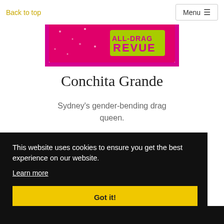Back to top | Menu
[Figure (illustration): Glittery pink and green banner reading 'ALL-DRAG REVUE' with magenta sequin border]
Conchita Grande
Sydney's gender-bending drag queen.
This website uses cookies to ensure you get the best experience on our website. Learn more
Got it!